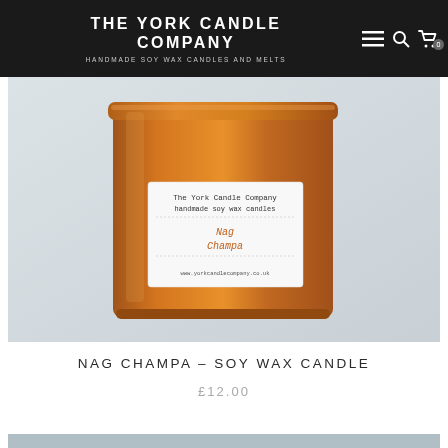THE YORK CANDLE COMPANY — HANDMADE SOY WAX CANDLES AND MELTS
[Figure (photo): A copper/bronze tin candle with a white label reading 'The York Candle Company handmade soy wax candles — Nag Champa — www.yorkcandlecompany.co.uk', on a light grey-blue background]
NAG CHAMPA – SOY WAX CANDLE
£12.00